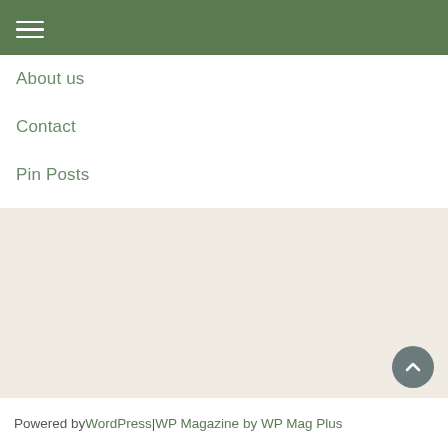Navigation menu
About us
Contact
Pin Posts
Privacy Policy
Subscribe to Luxury Magazine newsletter
Powered by WordPress | WP Magazine by WP Mag Plus